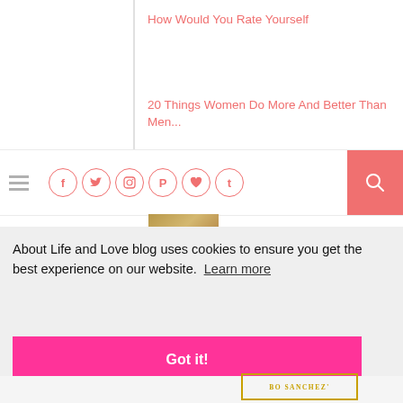How Would You Rate Yourself
20 Things Women Do More And Better Than Men...
[Figure (screenshot): Blog navigation bar with hamburger menu, social media icons (Facebook, Twitter, Instagram, Pinterest, heart/Bloglovin, Tumblr), and a pink search button]
[Figure (photo): Thumbnail image strip partially visible]
About Life and Love blog uses cookies to ensure you get the best experience on our website.  Learn more
Got it!
[Figure (logo): Bo Sanchez logo/badge with gold border at bottom]